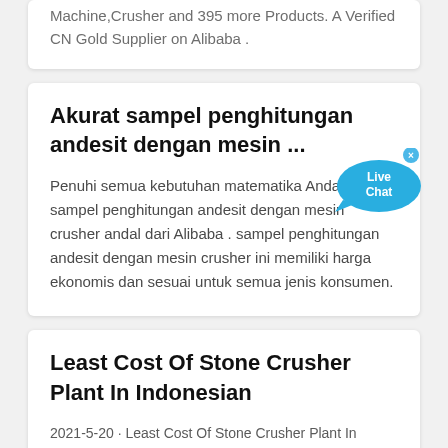Machine,Crusher and 395 more Products. A Verified CN Gold Supplier on Alibaba .
Akurat sampel penghitungan andesit dengan mesin ...
Penuhi semua kebutuhan matematika Anda dengan sampel penghitungan andesit dengan mesin crusher andal dari Alibaba . sampel penghitungan andesit dengan mesin crusher ini memiliki harga ekonomis dan sesuai untuk semua jenis konsumen.
Least Cost Of Stone Crusher Plant In Indonesian
2021-5-20 · Least Cost Of Stone Crusher Plant In Indonesian. 11 crusher how many times a raw stone be